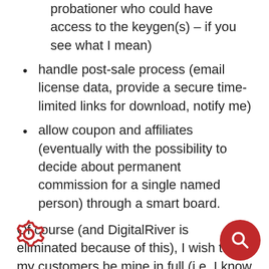probationer who could have access to the keygen(s) – if you see what I mean)
handle post-sale process (email license data, provide a secure time-limited links for download, notify me)
allow coupon and affiliates (eventually with the possibility to decide about permanent commission for a single named person) through a smart board.
Of course (and DigitalRiver is eliminated because of this), I wish that my customers be mine in full (i.e. I know their full info as name/addr/email and they are not